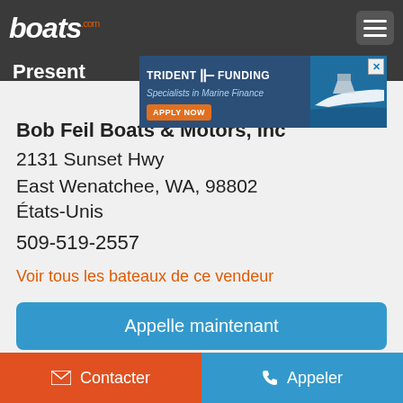boats.com
Present
[Figure (infographic): Trident Funding advertisement banner: 'TRIDENT FUNDING - Specialists in Marine Finance - APPLY NOW' with boat image]
Bob Feil Boats & Motors, Inc
2131 Sunset Hwy
East Wenatchee, WA, 98802
États-Unis
509-519-2557
Voir tous les bateaux de ce vendeur
Appelle maintenant
Contacter
Appeler